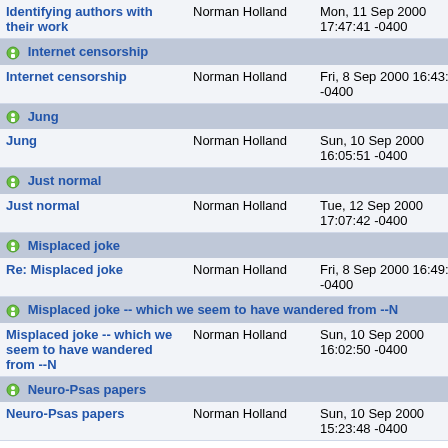| Subject | Author | Date | Size |
| --- | --- | --- | --- |
| Identifying authors with their work | Norman Holland | Mon, 11 Sep 2000 17:47:41 -0400 | 39 |
| [thread] Internet censorship |  |  |  |
| Internet censorship | Norman Holland | Fri, 8 Sep 2000 16:43:45 -0400 | 39 |
| [thread] Jung |  |  |  |
| Jung | Norman Holland | Sun, 10 Sep 2000 16:05:51 -0400 | 49 |
| [thread] Just normal |  |  |  |
| Just normal | Norman Holland | Tue, 12 Sep 2000 17:07:42 -0400 | 73 |
| [thread] Misplaced joke |  |  |  |
| Re: Misplaced joke | Norman Holland | Fri, 8 Sep 2000 16:49:20 -0400 | 26 |
| [thread] Misplaced joke -- which we seem to have wandered from --N |  |  |  |
| Misplaced joke -- which we seem to have wandered from --N | Norman Holland | Sun, 10 Sep 2000 16:02:50 -0400 | 22 |
| [thread] Neuro-Psas papers |  |  |  |
| Neuro-Psas papers | Norman Holland | Sun, 10 Sep 2000 15:23:48 -0400 | 34 |